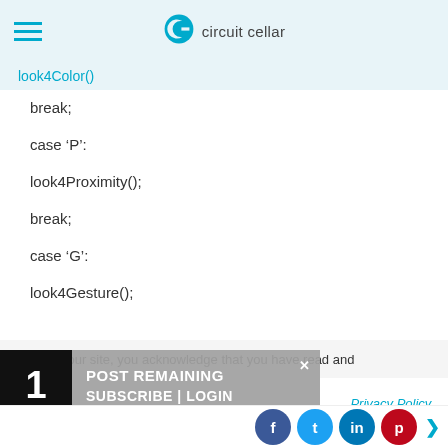circuit cellar
look4Color()
break;

case 'P':

look4Proximity();

break;

case 'G':

look4Gesture();

break;
By using our site, you acknowledge that you have read and
Privacy Policy.
1  POST REMAINING  SUBSCRIBE | LOGIN